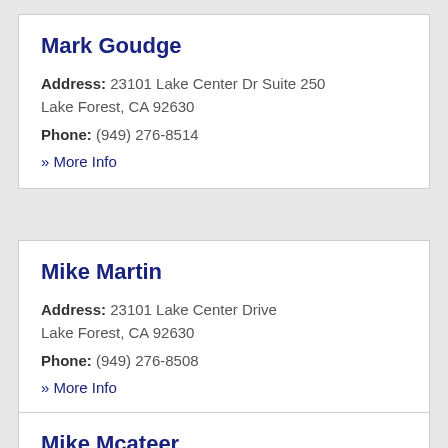Mark Goudge
Address: 23101 Lake Center Dr Suite 250 Lake Forest, CA 92630
Phone: (949) 276-8514
» More Info
Mike Martin
Address: 23101 Lake Center Drive Lake Forest, CA 92630
Phone: (949) 276-8508
» More Info
Mike Mcateer